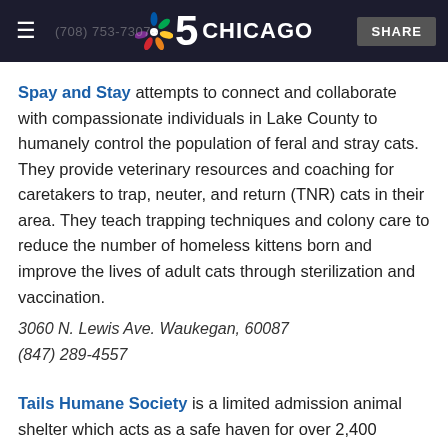NBC 5 CHICAGO — SHARE
Spay and Stay attempts to connect and collaborate with compassionate individuals in Lake County to humanely control the population of feral and stray cats. They provide veterinary resources and coaching for caretakers to trap, neuter, and return (TNR) cats in their area. They teach trapping techniques and colony care to reduce the number of homeless kittens born and improve the lives of adult cats through sterilization and vaccination.
3060 N. Lewis Ave. Waukegan, 60087
(847) 289-4557
Tails Humane Society is a limited admission animal shelter which acts as a safe haven for over 2,400 animals each year. Tails' mission is to build a community with the care and companion of animals.